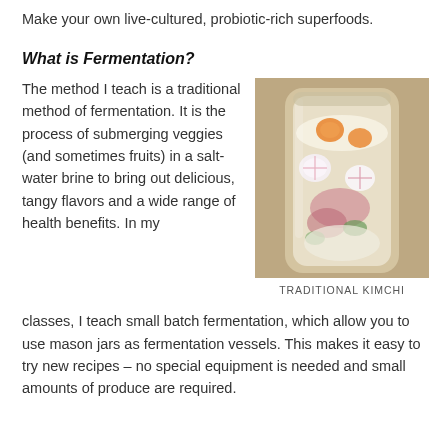Make your own live-cultured, probiotic-rich superfoods.
What is Fermentation?
The method I teach is a traditional method of fermentation. It is the process of submerging veggies (and sometimes fruits) in a salt-water brine to bring out delicious, tangy flavors and a wide range of health benefits. In my classes, I teach small batch fermentation, which allow you to use mason jars as fermentation vessels. This makes it easy to try new recipes – no special equipment is needed and small amounts of produce are required.
[Figure (photo): A glass jar filled with colorful fermented vegetables including carrots, radishes, and other mixed vegetables — traditional kimchi.]
TRADITIONAL KIMCHI